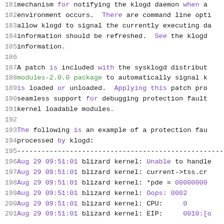181  mechanism for notifying the klogd daemon when a
182  environment occurs.  There are command line opti
183  allow klogd to signal the currently executing da
184  information should be refreshed.  See the klogd
185  information.
186  
187  A patch is included with the sysklogd distribut
188  modules-2.0.0 package to automatically signal k
189  is loaded or unloaded.  Applying this patch pro
190  seamless support for debugging protection faults
191  kernel loadable modules.
192  
193  The following is an example of a protection fau
194  processed by klogd:
195  ---------------------------------------------------
196  Aug 29 09:51:01 blizard kernel: Unable to handle
197  Aug 29 09:51:01 blizard kernel: current->tss.cr
198  Aug 29 09:51:01 blizard kernel: *pde = 00000000
199  Aug 29 09:51:01 blizard kernel: Oops: 0002
200  Aug 29 09:51:01 blizard kernel: CPU:     0
201  Aug 29 09:51:01 blizard kernel: EIP:     0010:[o